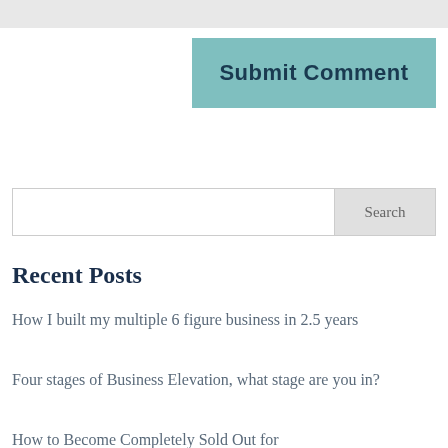[Figure (other): Submit Comment button — teal/light blue background with bold dark teal text]
[Figure (other): Search bar with text input area and grey Search button on the right]
Recent Posts
How I built my multiple 6 figure business in 2.5 years
Four stages of Business Elevation, what stage are you in?
How to Become Completely Sold Out for